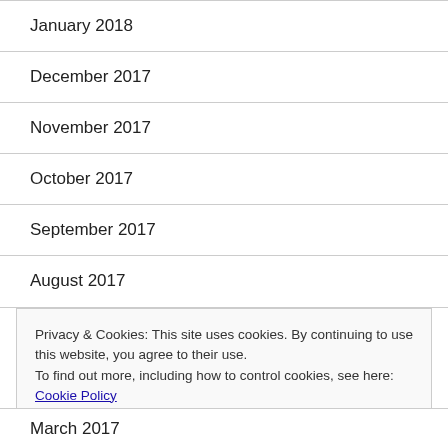January 2018
December 2017
November 2017
October 2017
September 2017
August 2017
July 2017
Privacy & Cookies: This site uses cookies. By continuing to use this website, you agree to their use. To find out more, including how to control cookies, see here: Cookie Policy
March 2017